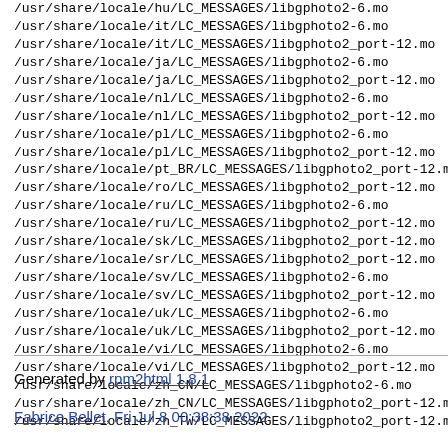/usr/share/locale/hu/LC_MESSAGES/libgphoto2-6.mo
/usr/share/locale/it/LC_MESSAGES/libgphoto2-6.mo
/usr/share/locale/it/LC_MESSAGES/libgphoto2_port-12.mo
/usr/share/locale/ja/LC_MESSAGES/libgphoto2-6.mo
/usr/share/locale/ja/LC_MESSAGES/libgphoto2_port-12.mo
/usr/share/locale/nl/LC_MESSAGES/libgphoto2-6.mo
/usr/share/locale/nl/LC_MESSAGES/libgphoto2_port-12.mo
/usr/share/locale/pl/LC_MESSAGES/libgphoto2-6.mo
/usr/share/locale/pl/LC_MESSAGES/libgphoto2_port-12.mo
/usr/share/locale/pt_BR/LC_MESSAGES/libgphoto2_port-12.mo
/usr/share/locale/ro/LC_MESSAGES/libgphoto2_port-12.mo
/usr/share/locale/ru/LC_MESSAGES/libgphoto2-6.mo
/usr/share/locale/ru/LC_MESSAGES/libgphoto2_port-12.mo
/usr/share/locale/sk/LC_MESSAGES/libgphoto2_port-12.mo
/usr/share/locale/sr/LC_MESSAGES/libgphoto2_port-12.mo
/usr/share/locale/sv/LC_MESSAGES/libgphoto2-6.mo
/usr/share/locale/sv/LC_MESSAGES/libgphoto2_port-12.mo
/usr/share/locale/uk/LC_MESSAGES/libgphoto2-6.mo
/usr/share/locale/uk/LC_MESSAGES/libgphoto2_port-12.mo
/usr/share/locale/vi/LC_MESSAGES/libgphoto2-6.mo
/usr/share/locale/vi/LC_MESSAGES/libgphoto2_port-12.mo
/usr/share/locale/zh_CN/LC_MESSAGES/libgphoto2-6.mo
/usr/share/locale/zh_CN/LC_MESSAGES/libgphoto2_port-12.mo
/usr/share/locale/zh_TW/LC_MESSAGES/libgphoto2_port-12.mo
Generated by rpm2html 1.8.1
Fabrice Bellet, Fri Jul 8 00:38:38 2022